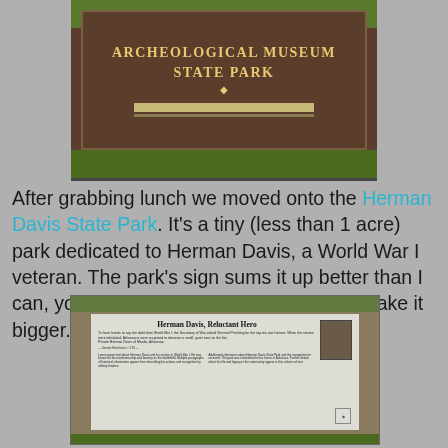[Figure (photo): Photo of a brown park sign reading 'ARCHEOLOGICAL MUSEUM STATE PARK' with a gold acorn emblem, with a white stripe below, grass visible at bottom]
After grabbing lunch we moved onto the Herman Davis State Park.  It's a tiny (less than 1 acre) park dedicated to Herman Davis, a World War I veteran.  The park's sign sums it up better than I can, you'll need to click on this image to make it bigger.
[Figure (photo): Photo of a historical marker sign titled 'Herman Davis, Reluctant Hero' with text about Herman Davis's World War I service and a small portrait photo of him in uniform, placed on dirt/grass ground]